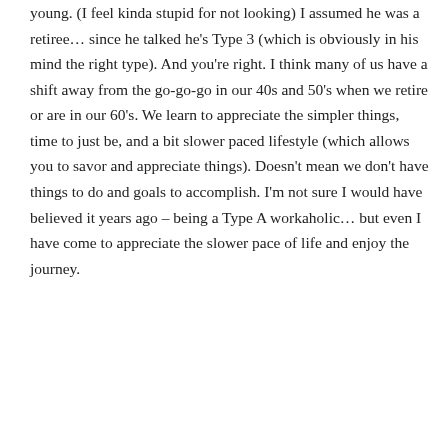young. (I feel kinda stupid for not looking) I assumed he was a retiree… since he talked he's Type 3 (which is obviously in his mind the right type). And you're right. I think many of us have a shift away from the go-go-go in our 40s and 50's when we retire or are in our 60's. We learn to appreciate the simpler things, time to just be, and a bit slower paced lifestyle (which allows you to savor and appreciate things). Doesn't mean we don't have things to do and goals to accomplish. I'm not sure I would have believed it years ago – being a Type A workaholic… but even I have come to appreciate the slower pace of life and enjoy the journey.